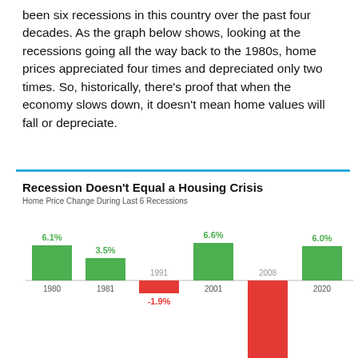been six recessions in this country over the past four decades. As the graph below shows, looking at the recessions going all the way back to the 1980s, home prices appreciated four times and depreciated only two times. So, historically, there's proof that when the economy slows down, it doesn't mean home values will fall or depreciate.
[Figure (bar-chart): Recession Doesn't Equal a Housing Crisis]